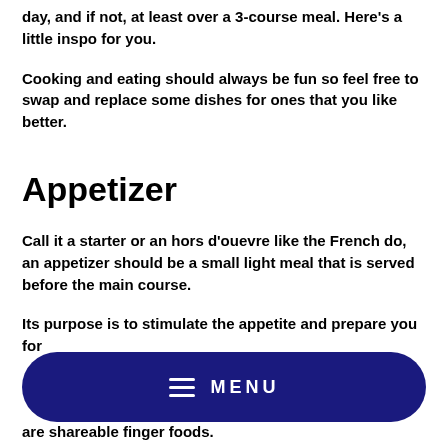day, and if not, at least over a 3-course meal. Here's a little inspo for you.
Cooking and eating should always be fun so feel free to swap and replace some dishes for ones that you like better.
Appetizer
Call it a starter or an hors d'ouevre like the French do, an appetizer should be a small light meal that is served before the main course.
Its purpose is to stimulate the appetite and prepare you for
are shareable finger foods.